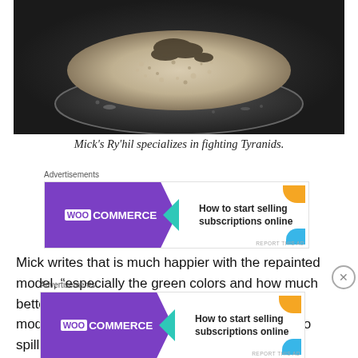[Figure (photo): Close-up photo of a painted miniature base — light sandy/rocky texture on a dark oval base, set against a dark background. This is the base of a Warhammer 40K miniature figure.]
Mick's Ry'hil specializes in fighting Tyranids.
[Figure (screenshot): WooCommerce advertisement banner: purple background with WooCommerce logo and text 'How to start selling subscriptions online' with teal arrow and orange/blue decorative shapes. Labeled 'Advertisements' above.]
Mick writes that is much happier with the repainted model, “especially the green colors and how much better the bone colors ‘pop’ on the rest of the model.” Serendipitously, he “also managed not to spill excess varnish on everything
[Figure (screenshot): Second WooCommerce advertisement banner identical to the first: purple background with WooCommerce logo and text 'How to start selling subscriptions online'. Labeled 'Advertisements' above.]